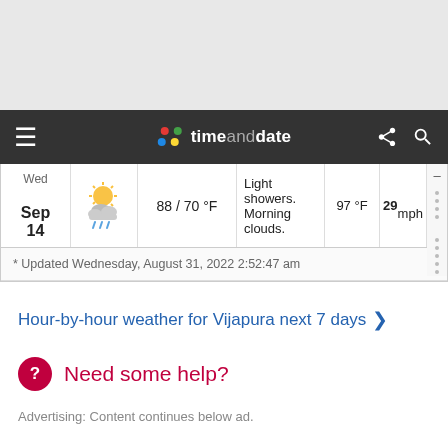[Figure (screenshot): Top gray area placeholder]
timeanddate
| Date | Icon | Temp | Description | Feels Like | Wind |  |
| --- | --- | --- | --- | --- | --- | --- |
| Wed Sep 14 |  | 88 / 70 °F | Light showers. Morning clouds. | 97 °F | 29 mph | - |
* Updated Wednesday, August 31, 2022 2:52:47 am
Hour-by-hour weather for Vijapura next 7 days >
Need some help?
Advertising: Content continues below ad.